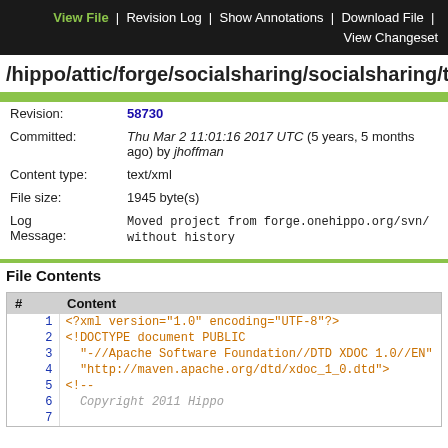View File | Revision Log | Show Annotations | Download File | View Changeset
/hippo/attic/forge/socialsharing/socialsharing/tru
| Revision: | 58730 |
| --- | --- |
| Committed: | Thu Mar 2 11:01:16 2017 UTC (5 years, 5 months ago) by jhoffman |
| Content type: | text/xml |
| File size: | 1945 byte(s) |
| Log Message: | Moved project from forge.onehippo.org/svn/ without history |
File Contents
| # | Content |
| --- | --- |
| 1 | <?xml version="1.0" encoding="UTF-8"?> |
| 2 | <!DOCTYPE document PUBLIC |
| 3 |   "-//Apache Software Foundation//DTD XDOC 1.0//EN" |
| 4 |   "http://maven.apache.org/dtd/xdoc_1_0.dtd"> |
| 5 | <!-- |
| 6 |   Copyright 2011 Hippo |
| 7 |  |